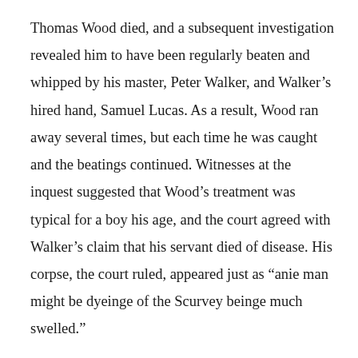Thomas Wood died, and a subsequent investigation revealed him to have been regularly beaten and whipped by his master, Peter Walker, and Walker's hired hand, Samuel Lucas. As a result, Wood ran away several times, but each time he was caught and the beatings continued. Witnesses at the inquest suggested that Wood's treatment was typical for a boy his age, and the court agreed with Walker's claim that his servant died of disease. His corpse, the court ruled, appeared just as “anie man might be dyeinge of the Scurvey beinge much swelled.”